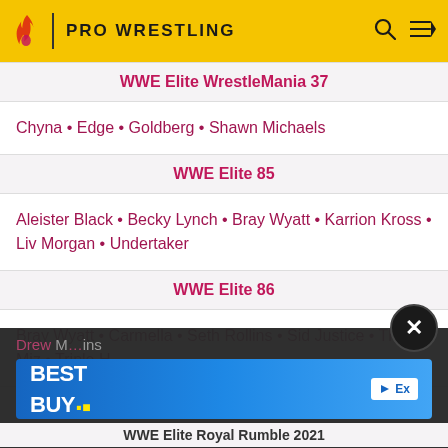PRO WRESTLING
WWE Elite WrestleMania 37
Chyna • Edge • Goldberg • Shawn Michaels
WWE Elite 85
Aleister Black • Becky Lynch • Bray Wyatt • Karrion Kross • Liv Morgan • Undertaker
WWE Elite 86
Bray Wyatt • Carmella • Seth Rollins • Sid Justice • The Miz • Triple H
WWE Elite Top Picks 2022
Drew [partially obscured]
WWE Elite Royal Rumble 2021